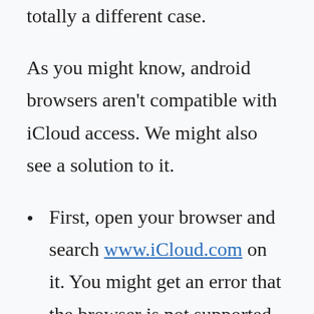totally a different case.
As you might know, android browsers aren't compatible with iCloud access. We might also see a solution to it.
First, open your browser and search www.iCloud.com on it. You might get an error that the browser is not supported. Simply switch to “Desktop Mode”.